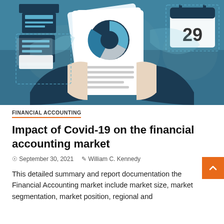[Figure (illustration): Hero illustration with a light blue background showing a world map, a figure holding a financial report document with a pie chart, surrounded by icons including a printer, calendar showing 29, and document icons. Dark navy blue and light blue color scheme.]
FINANCIAL ACCOUNTING
Impact of Covid-19 on the financial accounting market
September 30, 2021   William C. Kennedy
This detailed summary and report documentation the Financial Accounting market include market size, market segmentation, market position, regional and